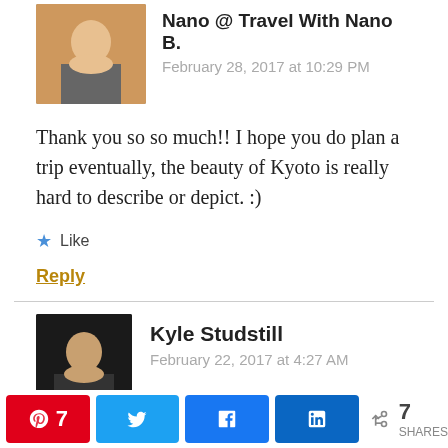Nano @ Travel With Nano B.
February 28, 2017 at 10:29 PM
Thank you so so much!! I hope you do plan a trip eventually, the beauty of Kyoto is really hard to describe or depict. :)
Like
Reply
Kyle Studstill
February 22, 2017 at 4:27 AM
7 SHARES